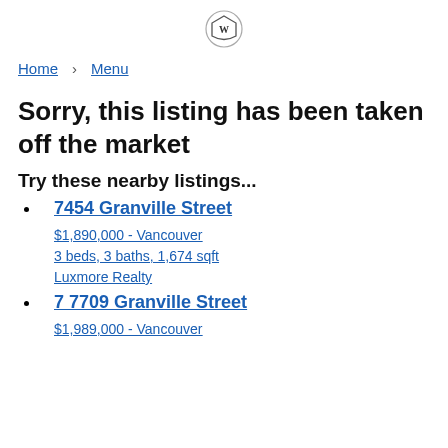[Figure (logo): Shield/crest logo icon centered at top]
Home  Menu
Sorry, this listing has been taken off the market
Try these nearby listings...
7454 Granville Street
$1,890,000 - Vancouver
3 beds, 3 baths, 1,674 sqft
Luxmore Realty
7 7709 Granville Street
$1,989,000 - Vancouver